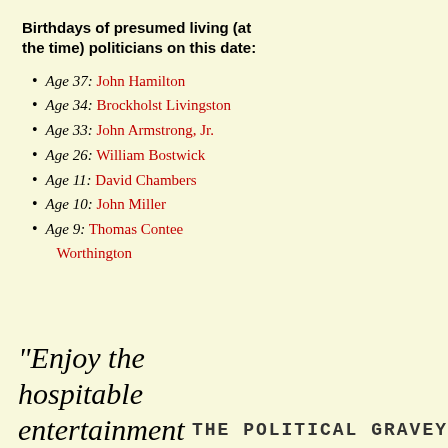Birthdays of presumed living (at the time) politicians on this date:
Age 37: John Hamilton
Age 34: Brockholst Livingston
Age 33: John Armstrong, Jr.
Age 26: William Bostwick
Age 11: David Chambers
Age 10: John Miller
Age 9: Thomas Contee Worthington
"Enjoy the hospitable entertainment
THE POLITICAL GRAVEYARD